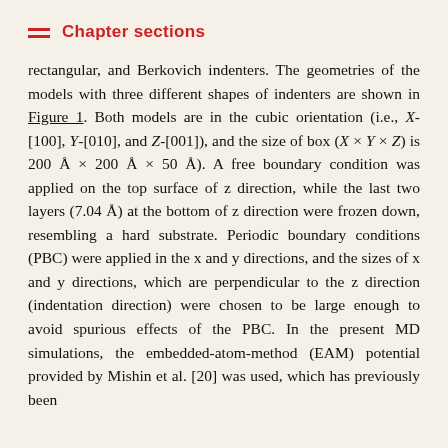Chapter sections
rectangular, and Berkovich indenters. The geometries of the models with three different shapes of indenters are shown in Figure 1. Both models are in the cubic orientation (i.e., X-[100], Y-[010], and Z-[001]), and the size of box (X × Y × Z) is 200 Å × 200 Å × 50 Å). A free boundary condition was applied on the top surface of z direction, while the last two layers (7.04 Å) at the bottom of z direction were frozen down, resembling a hard substrate. Periodic boundary conditions (PBC) were applied in the x and y directions, and the sizes of x and y directions, which are perpendicular to the z direction (indentation direction) were chosen to be large enough to avoid spurious effects of the PBC. In the present MD simulations, the embedded-atom-method (EAM) potential provided by Mishin et al. [20] was used, which has previously been